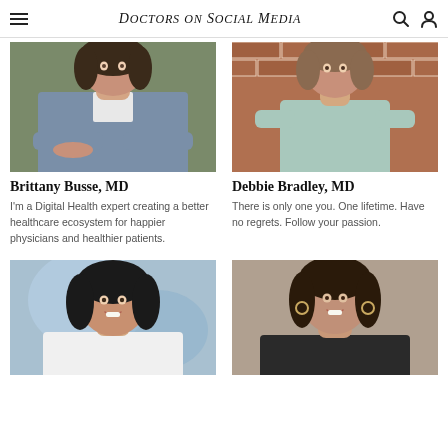Doctors on Social Media
[Figure (photo): Headshot of Brittany Busse, MD seated outdoors in a grey shirt]
Brittany Busse, MD
I'm a Digital Health expert creating a better healthcare ecosystem for happier physicians and healthier patients.
[Figure (photo): Headshot of Debbie Bradley, MD standing with arms crossed in a light blue dress against a brick wall]
Debbie Bradley, MD
There is only one you. One lifetime. Have no regrets. Follow your passion.
[Figure (photo): Professional headshot of a woman with long dark hair smiling, blurred blue background]
[Figure (photo): Professional headshot of a woman with long dark hair against a warm beige background, wearing hoop earrings]